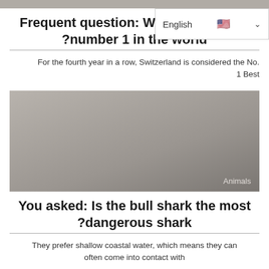Frequent question: Which country is number 1 in the world?
For the fourth year in a row, Switzerland is considered the No. 1 Best
[Figure (photo): Grey/neutral image placeholder with 'Animals' label in lower right]
You asked: Is the bull shark the most dangerous shark?
They prefer shallow coastal water, which means they can often come into contact with
[Figure (photo): Grey image strip at bottom of page]